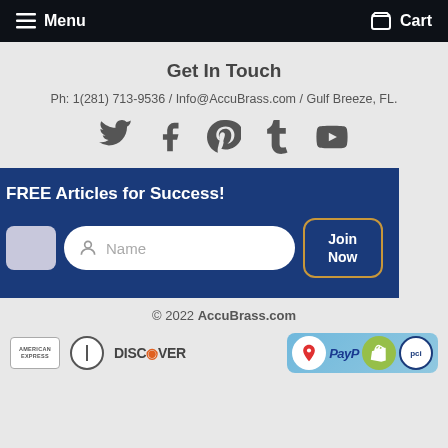Menu  Cart
Get In Touch
Ph: 1(281) 713-9536 / Info@AccuBrass.com / Gulf Breeze, FL.
[Figure (illustration): Social media icons: Twitter, Facebook, Pinterest, Tumblr, YouTube]
FREE Articles for Success!
Name input field and Join Now button
© 2022 AccuBrass.com
[Figure (logo): Payment logos: American Express, Diners Club, Discover, Google Maps, PayPal, Shopify, PCI]